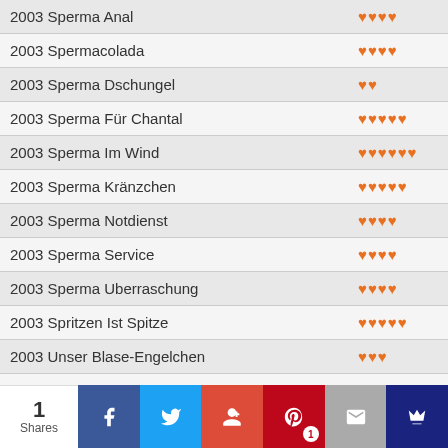| Title | Rating |
| --- | --- |
| 2003 Sperma Anal | ♥♥♥♥ |
| 2003 Spermacolada | ♥♥♥♥ |
| 2003 Sperma Dschungel | ♥♥ |
| 2003 Sperma Für Chantal | ♥♥♥♥♥ |
| 2003 Sperma Im Wind | ♥♥♥♥♥♥ |
| 2003 Sperma Kränzchen | ♥♥♥♥♥ |
| 2003 Sperma Notdienst | ♥♥♥♥ |
| 2003 Sperma Service | ♥♥♥♥ |
| 2003 Sperma Uberraschung | ♥♥♥♥ |
| 2003 Spritzen Ist Spitze | ♥♥♥♥♥ |
| 2003 Unser Blase-Engelchen | ♥♥♥ |
| 2004 Abgepisst und Ausgelutscht | ♥♥♥♥♥ |
| 2004 Annegret Zugekleistert | ♥♥♥♥ |
| 2004 Auf Die Knie & Schluck | ♥♥♥ |
| 2004 Blond Und Geil Sucht Dich! 089 349 943 | ♥♥♥ |
1 Shares | Facebook | Twitter | Google+ | Pinterest 1 | Mail | Crown